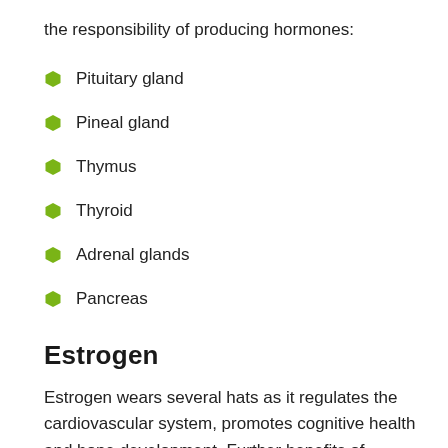the responsibility of producing hormones:
Pituitary gland
Pineal gland
Thymus
Thyroid
Adrenal glands
Pancreas
Estrogen
Estrogen wears several hats as it regulates the cardiovascular system, promotes cognitive health and bone development. Further benefits of estrogen include: